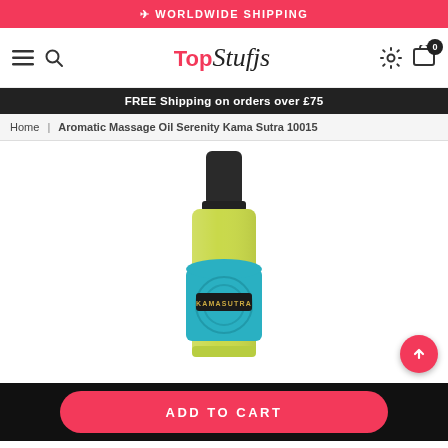WORLDWIDE SHIPPING
[Figure (logo): TopStuffs ecommerce logo with hamburger menu, search, settings and cart icons]
FREE Shipping on orders over £75
Home | Aromatic Massage Oil Serenity Kama Sutra 10015
[Figure (photo): Kama Sutra Aromatic Massage Oil Serenity product bottle - yellow-green liquid bottle with black cap and teal decorative label]
ADD TO CART